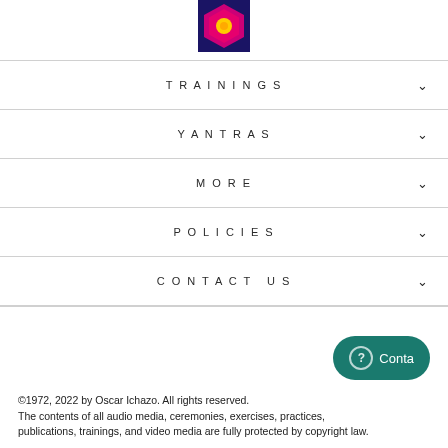[Figure (logo): Hexagon logo with dark navy background, pink/magenta outer hexagon shape, and yellow center circle, on dark blue square background]
TRAININGS
YANTRAS
MORE
POLICIES
CONTACT US
©1972, 2022 by Oscar Ichazo. All rights reserved.
The contents of all audio media, ceremonies, exercises, practices,
publications, trainings, and video media are fully protected by copyright law.